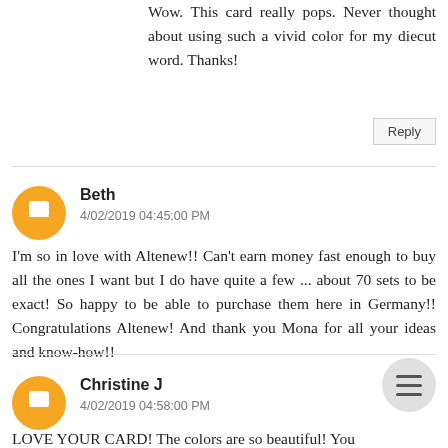Wow. This card really pops. Never thought about using such a vivid color for my diecut word. Thanks!
Reply
Beth
4/02/2019 04:45:00 PM
I'm so in love with Altenew!! Can't earn money fast enough to buy all the ones I want but I do have quite a few ... about 70 sets to be exact! So happy to be able to purchase them here in Germany!! Congratulations Altenew! And thank you Mona for all your ideas and know-how!!
Reply
Christine J
4/02/2019 04:58:00 PM
LOVE YOUR CARD! The colors are so beautiful! You